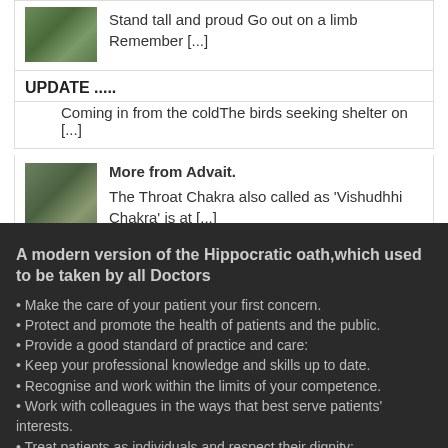Stand tall and proud Go out on a limb Remember [...]
UPDATE .....
Coming in from the coldThe birds seeking shelter on [...]
More from Advait.
The Throat Chakra also called as 'Vishudhhi Chakra' is at [...]
A modern version of the Hippocratic oath,which used to be taken by all Doctors
• Make the care of your patient your first concern.
• Protect and promote the health of patients and the public.
• Provide a good standard of practice and care:
• Keep your professional knowledge and skills up to date.
• Recognise and work within the limits of your competence.
• Work with colleagues in the ways that best serve patients' interests.
• Treat patients as individuals and respect their dignity:
• Treat patients politely and considerately.